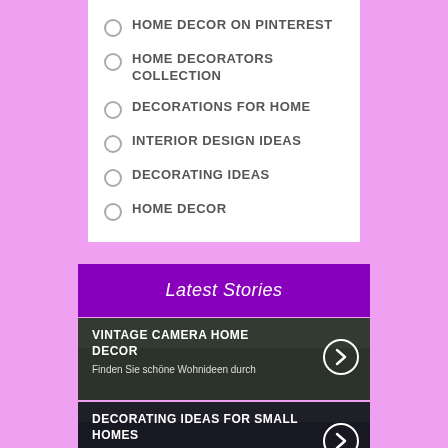HOME DECOR ON PINTEREST
HOME DECORATORS COLLECTION
DECORATIONS FOR HOME
INTERIOR DESIGN IDEAS
DECORATING IDEAS
HOME DECOR
Latest Stories
[Figure (photo): Story card: VINTAGE CAMERA HOME DECOR - Finden Sie schöne Wohnideen durch]
[Figure (photo): Story card: DECORATING IDEAS FOR SMALL HOMES - The small home motion started around]